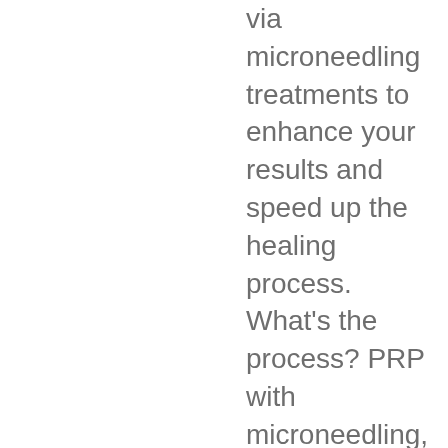via microneedling treatments to enhance your results and speed up the healing process. What's the process? PRP with microneedling, sometimes